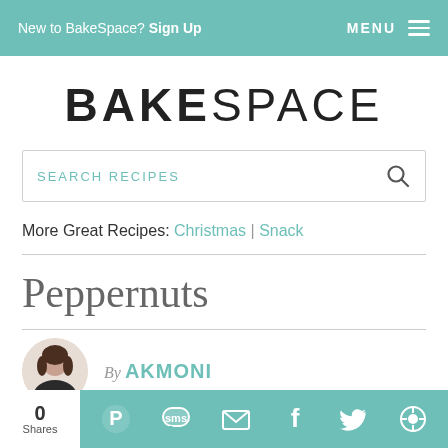New to BakeSpace? Sign Up   MENU
BAKESPACE
SEARCH RECIPES
More Great Recipes: Christmas | Snack
Peppernuts
By AKMONI
0 Shares  Pinterest  SMS  Email  Facebook  Twitter  Other